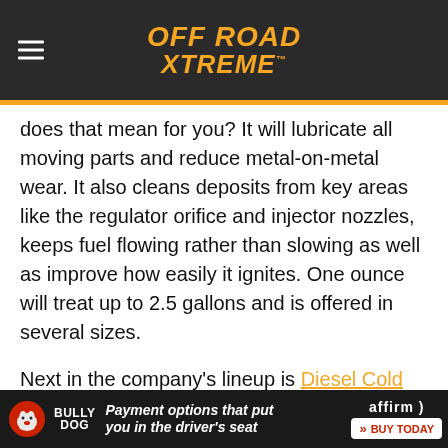Off Road Xtreme
does that mean for you? It will lubricate all moving parts and reduce metal-on-metal wear. It also cleans deposits from key areas like the regulator orifice and injector nozzles, keeps fuel flowing rather than slowing as well as improve how easily it ignites. One ounce will treat up to 2.5 gallons and is offered in several sizes.
Next in the company’s lineup is Diesel Cold Flow. Unlike a lot of other additives on the market, it does not contain alcohol to be effective. Alcohol is a drying agent, which is not ideal for metal parts that need lubrication. Diesel Cold Flow should be added to the tank above the temperature at which crystallization occurs. When used properly, it will prevent gelling and freezing. Unfortunately, it will not reverse these effects.
Bully Dog — Payment options that put you in the driver’s seat — affirm — BUY TODAY